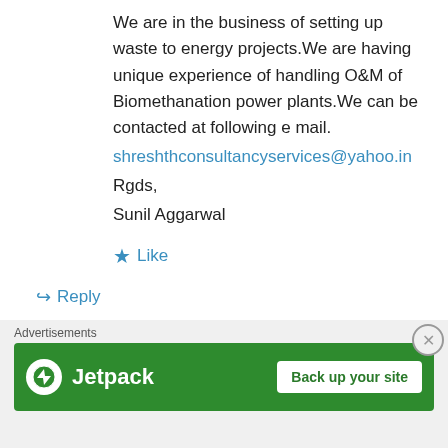We are in the business of setting up waste to energy projects.We are having unique experience of handling O&M of Biomethanation power plants.We can be contacted at following e mail.
shreshthconsultancyservices@yahoo.in
Rgds,
Sunil Aggarwal
Like
Reply
Jaya P Pradhan on October 14, 2009 at 3:07 pm
Advertisements
[Figure (screenshot): Jetpack advertisement banner with 'Back up your site' button on green background]